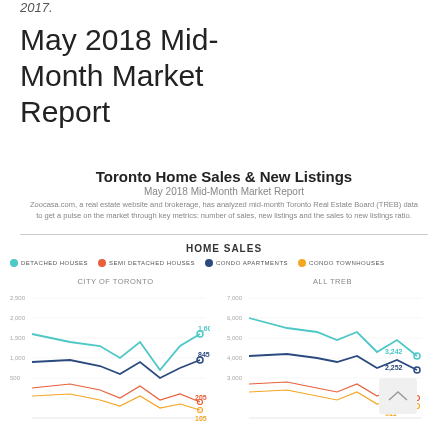2017.
May 2018 Mid-Month Market Report
Toronto Home Sales & New Listings
May 2018 Mid-Month Market Report
Zoocasa.com, a real estate website and brokerage, has analyzed mid-month Toronto Real Estate Board (TREB) data to get a pulse on the market through key metrics: number of sales, new listings and the sales to new listings ratio.
HOME SALES
[Figure (line-chart): Line chart showing home sales by type for City of Toronto. Detached Houses end at 1,601; Condo Apartments at 845; Semi Detached Houses at 205; Condo Townhouses at 105.]
[Figure (line-chart): Line chart showing home sales by type for all TREB. Detached Houses end at 3,242; Condo Apartments at 2,252; Semi Detached Houses at 752; Condo Townhouses at 511.]